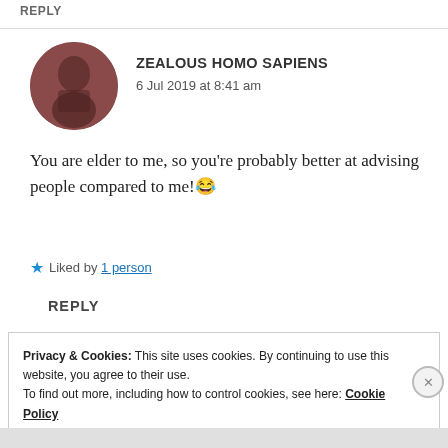REPLY
[Figure (photo): Circular avatar photo of a person with dark hair, reddish-brown toned image]
ZEALOUS HOMO SAPIENS
6 Jul 2019 at 8:41 am
You are elder to me, so you're probably better at advising people compared to me!😂
★ Liked by 1 person
REPLY
Privacy & Cookies: This site uses cookies. By continuing to use this website, you agree to their use.
To find out more, including how to control cookies, see here: Cookie Policy
Close and accept